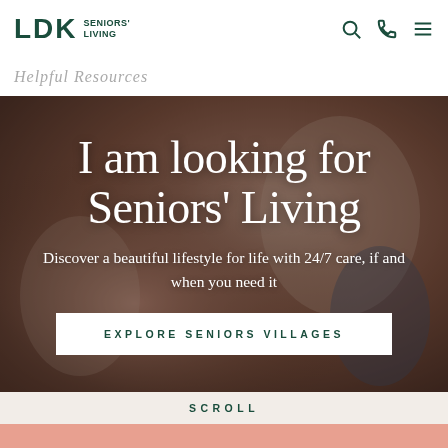LDK SENIORS' LIVING
Helpful Resources
I am looking for Seniors' Living
Discover a beautiful lifestyle for life with 24/7 care, if and when you need it
EXPLORE SENIORS VILLAGES
SCROLL